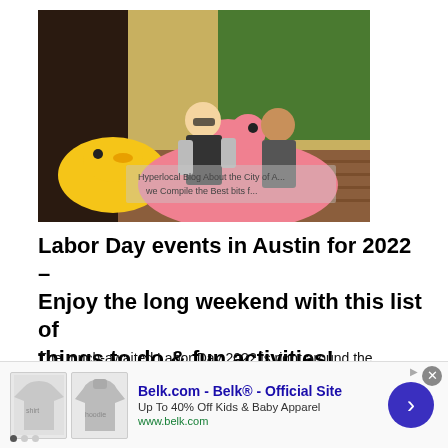[Figure (photo): Two people sitting on large inflatable pool floats (a pink flamingo and yellow duck) outdoors near a pool area. Both are smiling. Summery, fun atmosphere.]
Labor Day events in Austin for 2022 – Enjoy the long weekend with this list of things to do & fun activities!
The much-awaited Labor Day 2022 is right around the corner! And as we all know, everybody wants to make the most of this special day and during the last bite of…